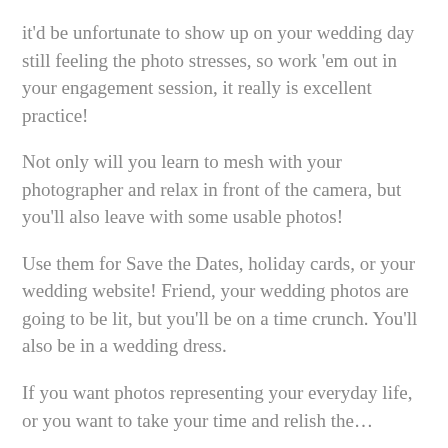it'd be unfortunate to show up on your wedding day still feeling the photo stresses, so work 'em out in your engagement session, it really is excellent practice!
Not only will you learn to mesh with your photographer and relax in front of the camera, but you'll also leave with some usable photos!
Use them for Save the Dates, holiday cards, or your wedding website! Friend, your wedding photos are going to be lit, but you'll be on a time crunch. You'll also be in a wedding dress.
If you want photos representing your everyday life, or you want to take your time and relish the…